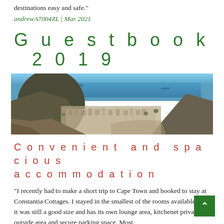destinations easy and safe."
andrewA7004ZL | Mar 2021
Guestbook 2019
[Figure (photo): Panoramic view from a mountain overlooking a coastal city (Cape Town) with Lion's Head mountain visible, blue ocean in the background, rocky terrain in the foreground.]
Convenient and spacious accommodation
"I recently had to make a short trip to Cape Town and booked to stay at Constantia Cottages. I stayed in the smallest of the rooms available but it was still a good size and has its own lounge area, kitchenette, private outside area and secure parking space. Most